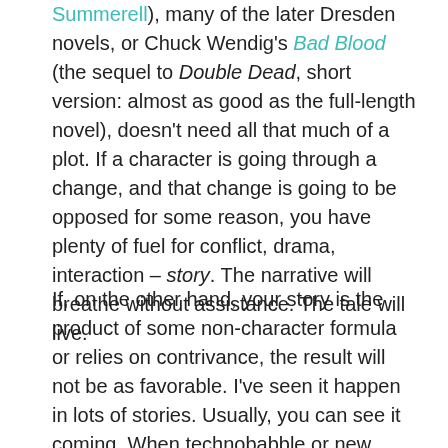Summerell), many of the later Dresden novels, or Chuck Wendig's Bad Blood (the sequel to Double Dead, short version: almost as good as the full-length novel), doesn't need all that much of a plot. If a character is going through a change, and that change is going to be opposed for some reason, you have plenty of fuel for conflict, drama, interaction – story. The narrative will breathe without assistance. The tale will live.
If, on the other hand, your story is the product of some non-character formula or relies on contrivance, the result will not be as favorable. I've seen it happen in lots of stories. Usually, you can see it coming. When technobabble or new powers as the plot demands or deus ex machina moments begin to crop up more and more, it's sign that the story has a terminal illness. The execution of the plot means the execution of the story,